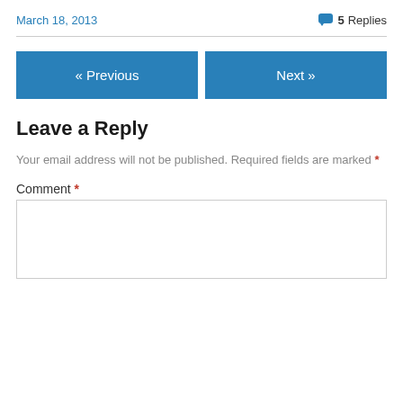March 18, 2013
💬 5 Replies
« Previous
Next »
Leave a Reply
Your email address will not be published. Required fields are marked *
Comment *